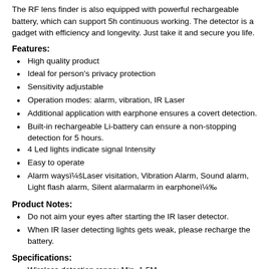The RF lens finder is also equipped with powerful rechargeable battery, which can support 5h continuous working. The detector is a gadget with efficiency and longevity. Just take it and secure you life.
Features:
High quality product
Ideal for person's privacy protection
Sensitivity adjustable
Operation modes: alarm, vibration, IR Laser
Additional application with earphone ensures a covert detection.
Built-in rechargeable Li-battery can ensure a non-stopping detection for 5 hours.
4 Led lights indicate signal Intensity
Easy to operate
Alarm ways：Laser visitation, Vibration Alarm, Sound alarm, Light flash alarm, Silent alarmalarm in earphone‰
Product Notes:
Do not aim your eyes after starting the IR laser detector.
When IR laser detecting lights gets weak, please recharge the battery.
Specifications:
Wireless detection range: Min. 1.5M...